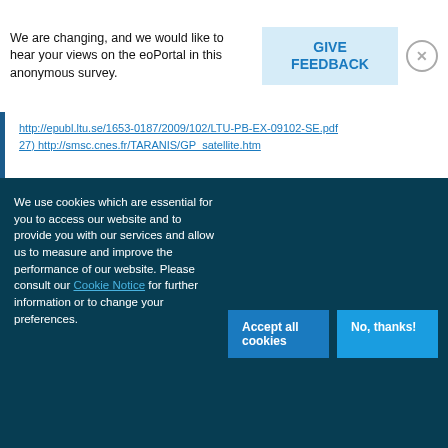We are changing, and we would like to hear your views on the eoPortal in this anonymous survey.
GIVE FEEDBACK
http://epubl.ltu.se/1653-0187/2009/102/LTU-PB-EX-09102-SE.pdf
27) http://smsc.cnes.fr/TARANIS/GP_satellite.htm
We use cookies which are essential for you to access our website and to provide you with our services and allow us to measure and improve the performance of our website. Please consult our Cookie Notice for further information or to change your preferences.
Accept all cookies
No, thanks!